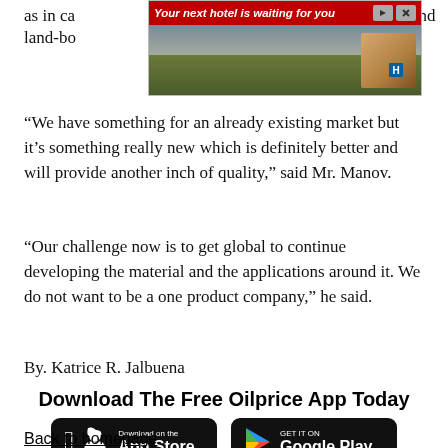as in ca… und land-bo…
[Figure (screenshot): Advertisement banner: 'Your next hotel is waiting for you' with hotel image background and red header bar with close/skip icons]
“We have something for an already existing market but it’s something really new which is definitely better and will provide another inch of quality,” said Mr. Manov.
“Our challenge now is to get global to continue developing the material and the applications around it. We do not want to be a one product company,” he said.
By. Katrice R. Jalbuena
Download The Free Oilprice App Today
[Figure (screenshot): Apple App Store download button - black rounded rectangle with Apple logo, 'Download on the App Store' text]
[Figure (screenshot): Google Play Store download button - black rounded rectangle with Play logo, 'GET IT ON Google Play' text]
Back to homepage